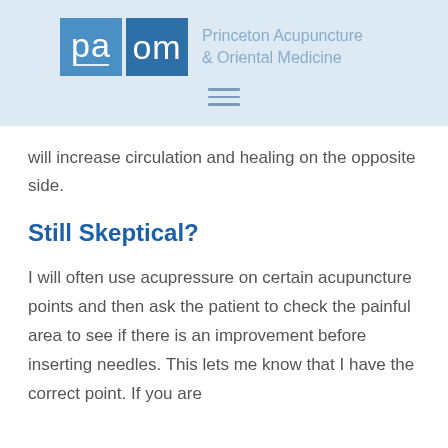[Figure (logo): Princeton Acupuncture & Oriental Medicine logo with blue square tiles showing 'paom' text and organization name]
will increase circulation and healing on the opposite side.
Still Skeptical?
I will often use acupressure on certain acupuncture points and then ask the patient to check the painful area to see if there is an improvement before inserting needles. This lets me know that I have the correct point. If you are